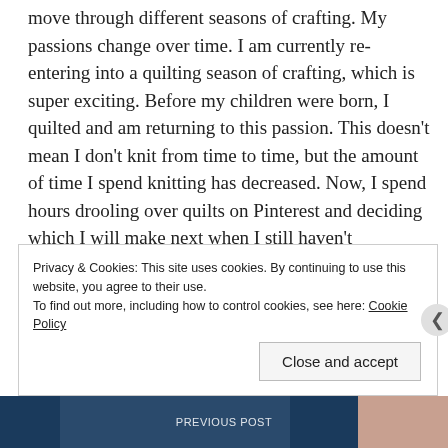move through different seasons of crafting. My passions change over time. I am currently re-entering into a quilting season of crafting, which is super exciting. Before my children were born, I quilted and am returning to this passion. This doesn't mean I don't knit from time to time, but the amount of time I spend knitting has decreased. Now, I spend hours drooling over quilts on Pinterest and deciding which I will make next when I still haven't completed the previous ones.
Privacy & Cookies: This site uses cookies. By continuing to use this website, you agree to their use.
To find out more, including how to control cookies, see here: Cookie Policy
Close and accept